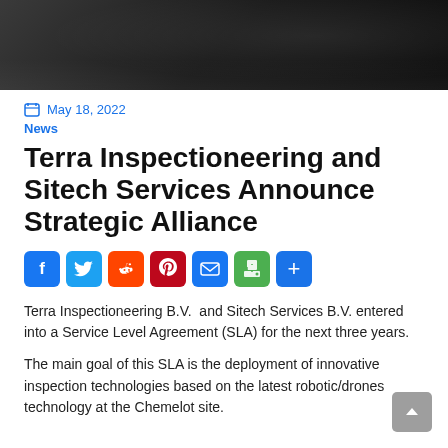[Figure (photo): Photo of a dark desk surface with blurred objects, partial view of office/meeting setting]
May 18, 2022
News
Terra Inspectioneering and Sitech Services Announce Strategic Alliance
[Figure (infographic): Social sharing buttons: Facebook, Twitter, Reddit, Pinterest, Email, Print, Share]
Terra Inspectioneering B.V.  and Sitech Services B.V. entered into a Service Level Agreement (SLA) for the next three years.
The main goal of this SLA is the deployment of innovative inspection technologies based on the latest robotic/drones technology at the Chemelot site.